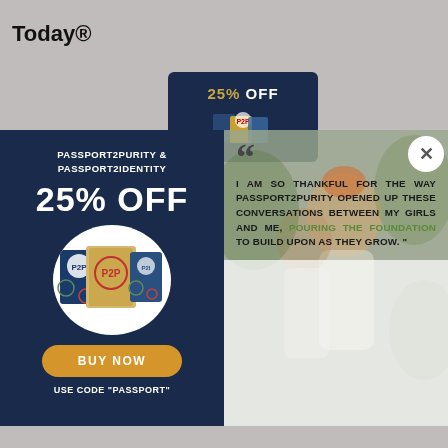Featured Resources From FamilyLife Today®
[Figure (illustration): Small dark blue card showing 25% OFF with product image]
[Figure (illustration): Dark navy blue promotional panel: PASSPORT2PURITY & PASSPORT2IDENTITY 25% OFF with product books in white circle and BUY NOW button]
PASSPORT2PURITY & PASSPORT2IDENTITY
25% OFF
BUY NOW
USE CODE "PASSPORT"
[Figure (photo): Right panel with semi-transparent photo of two women/girls outdoors with quote overlay]
I AM SO THANKFUL FOR THE WAY PASSPORT2PURITY OPENED UP THESE CONVERSATIONS BETWEEN MY GIRLS AND ME, POURING THE FOUNDATION TO BUILD UPON AS THEY GROW. "